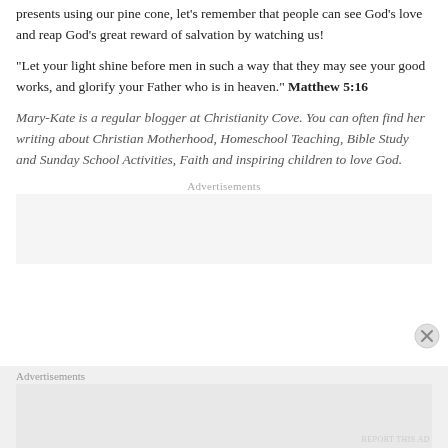presents using our pine cone, lets remember that people can see God's love and reap God's great reward of salvation by watching us!
"Let your light shine before men in such a way that they may see your good works, and glorify your Father who is in heaven." Matthew 5:16
Mary-Kate is a regular blogger at Christianity Cove. You can often find her writing about Christian Motherhood, Homeschool Teaching, Bible Study and Sunday School Activities, Faith and inspiring children to love God.
Advertisements
Advertisements
REPORT THIS AD